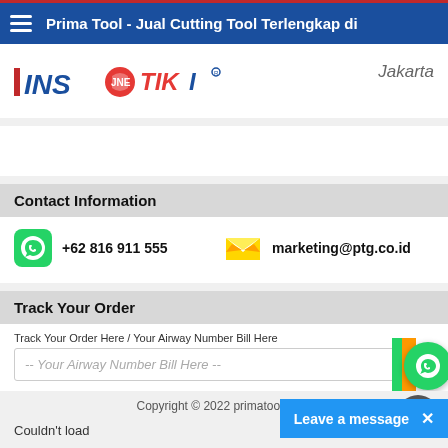Prima Tool - Jual Cutting Tool Terlengkap di
[Figure (logo): INS and TIKI courier service logos with Jakarta text]
Contact Information
+62 816 911 555
marketing@ptg.co.id
Track Your Order
Track Your Order Here / Your Airway Number Bill Here
-- Your Airway Number Bill Here --
Copyright © 2022 primatool.co.id
Couldn't load
Leave a message ×